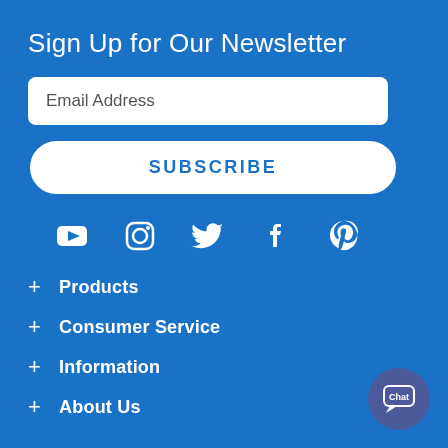Sign Up for Our Newsletter
Email Address
SUBSCRIBE
[Figure (infographic): Row of 5 social media icons: YouTube, Instagram, Twitter, Facebook, Pinterest — white icons on blue background]
+ Products
+ Consumer Service
+ Information
+ About Us
[Figure (infographic): Chat button — circular purple/navy button with chat bubble icon and 'Chat' label, bottom-right corner]